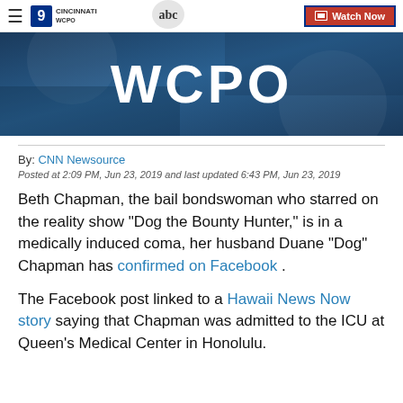WCPO 9 Cincinnati | ABC | Watch Now
[Figure (photo): WCPO news station hero banner with large white 'WCPO' text on dark blue background]
By: CNN Newsource
Posted at 2:09 PM, Jun 23, 2019 and last updated 6:43 PM, Jun 23, 2019
Beth Chapman, the bail bondswoman who starred on the reality show "Dog the Bounty Hunter," is in a medically induced coma, her husband Duane "Dog" Chapman has confirmed on Facebook .
The Facebook post linked to a Hawaii News Now story saying that Chapman was admitted to the ICU at Queen's Medical Center in Honolulu.